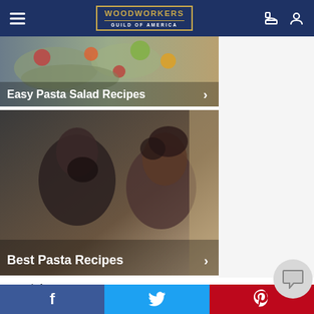Woodworkers Guild of America — navigation header
[Figure (photo): Close-up of pasta salad with colorful vegetables, card overlay reading 'Easy Pasta Salad Recipes']
[Figure (photo): Man and woman looking down at food in kitchen, card overlay reading 'Best Pasta Recipes']
Search for
1  Easy Pasta Salad Recipes
2  Best Pasta Recipes
3  Top 10 Pasta Salad Recipes
Facebook | Twitter | Pinterest